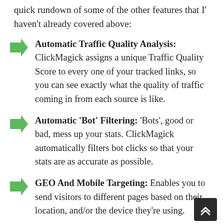quick rundown of some of the other features that I' haven't already covered above:
Automatic Traffic Quality Analysis: ClickMagick assigns a unique Traffic Quality Score to every one of your tracked links, so you can see exactly what the quality of traffic coming in from each source is like.
Automatic 'Bot' Filtering: 'Bots', good or bad, mess up your stats. ClickMagick automatically filters bot clicks so that your stats are as accurate as possible.
GEO And Mobile Targeting: Enables you to send visitors to different pages based on their location, and/or the device they're using.